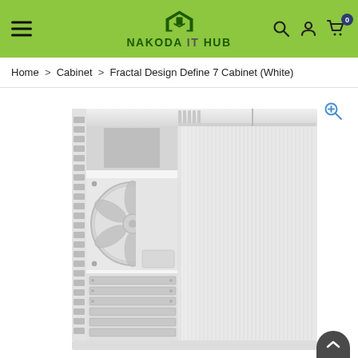NAKODA IT HUB — navigation header with hamburger menu, logo, search, user, and cart icons
Home > Cabinet > Fractal Design Define 7 Cabinet (White)
[Figure (photo): White Fractal Design Define 7 PC cabinet with open side panel, showing fan and drive bays, brushed aluminum front panel, white interior]